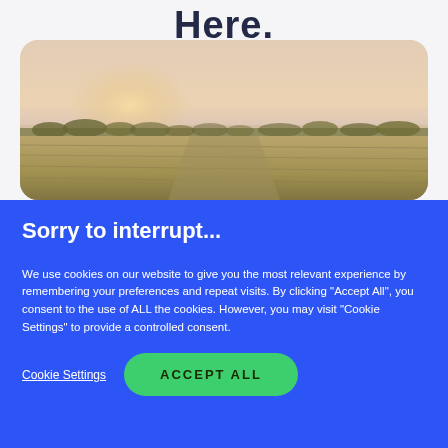Here.
[Figure (photo): Landscape photo of a pastoral countryside scene with fields, trees on the horizon, and a soft sunrise sky with pinkish-yellow hues.]
Sorry to interrupt...
We use cookies on our website to give you the most relevant experience by remembering your preferences and repeat visits. By clicking "Accept All", you consent to the use of ALL the cookies. However, you may visit "Cookie Settings" to provide a controlled consent.
Cookie Settings
ACCEPT ALL